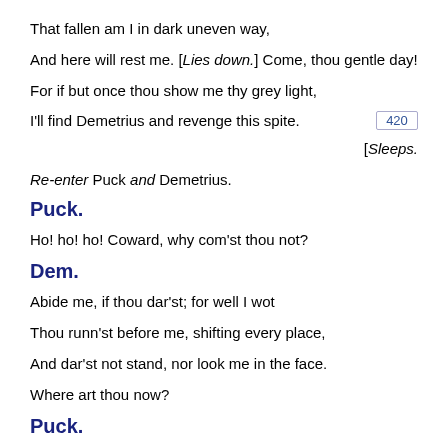That fallen am I in dark uneven way,
And here will rest me. [Lies down.] Come, thou gentle day!
For if but once thou show me thy grey light,
I'll find Demetrius and revenge this spite.  420
[Sleeps.
Re-enter Puck and Demetrius.
Puck.
Ho! ho! ho! Coward, why com'st thou not?
Dem.
Abide me, if thou dar'st; for well I wot
Thou runn'st before me, shifting every place,
And dar'st not stand, nor look me in the face.
Where art thou now?
Puck.
Come hither: I am here.
Dem.
Nay then, thou mock'st me. Thou shalt buy this dear,